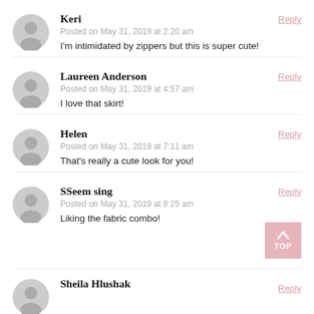Keri — Posted on May 31, 2019 at 2:20 am — I'm intimidated by zippers but this is super cute!
Laureen Anderson — Posted on May 31, 2019 at 4:57 am — I love that skirt!
Helen — Posted on May 31, 2019 at 7:11 am — That's really a cute look for you!
SSeem sing — Posted on May 31, 2019 at 8:25 am — Liking the fabric combo!
Sheila Hlushak — Reply